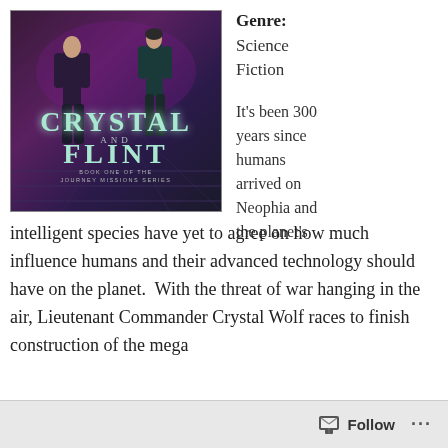[Figure (illustration): Book cover for 'Crystal and Flint, Book One of the Journey Missions Series' showing two figures walking down a corridor with sci-fi aesthetics, dark purple/blue tones. Title text in teal/mint color.]
Genre: Science Fiction
It's been 300 years since humans arrived on Neophia and the planet's intelligent species have yet to agree on how much influence humans and their advanced technology should have on the planet.  With the threat of war hanging in the air, Lieutenant Commander Crystal Wolf races to finish construction of the mega
Follow ...